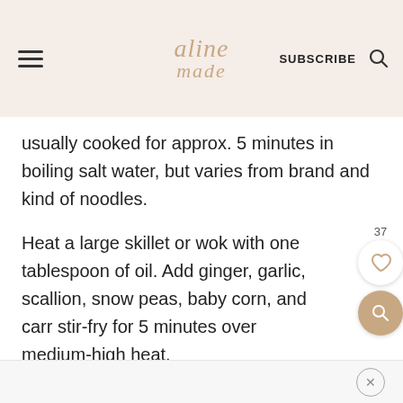aline made | SUBSCRIBE
usually cooked for approx. 5 minutes in boiling salt water, but varies from brand and kind of noodles.
Heat a large skillet or wok with one tablespoon of oil. Add ginger, garlic, scallion, snow peas, baby corn, and carr stir-fry for 5 minutes over medium-high heat.